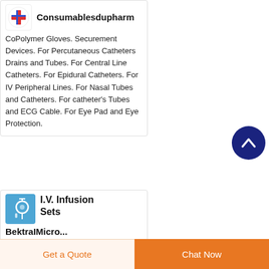Consumablesdupharm
CoPolymer Gloves. Securement Devices. For Percutaneous Catheters Drains and Tubes. For Central Line Catheters. For Epidural Catheters. For IV Peripheral Lines. For Nasal Tubes and Catheters. For catheter's Tubes and ECG Cable. For Eye Pad and Eye Protection.
[Figure (logo): Medical logo with red and blue cross/plus symbol]
I.V. Infusion Sets
BektraIMicro...
[Figure (logo): Blue IV infusion set logo with circular device icon]
[Figure (other): Scroll to top button - dark navy circle with white upward arrow]
Get a Quote
Chat Now